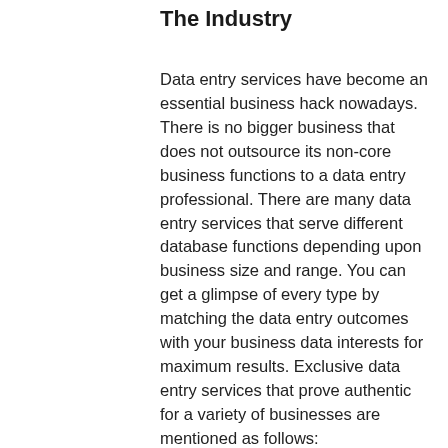The Industry
Data entry services have become an essential business hack nowadays. There is no bigger business that does not outsource its non-core business functions to a data entry professional. There are many data entry services that serve different database functions depending upon business size and range. You can get a glimpse of every type by matching the data entry outcomes with your business data interests for maximum results. Exclusive data entry services that prove authentic for a variety of businesses are mentioned as follows: